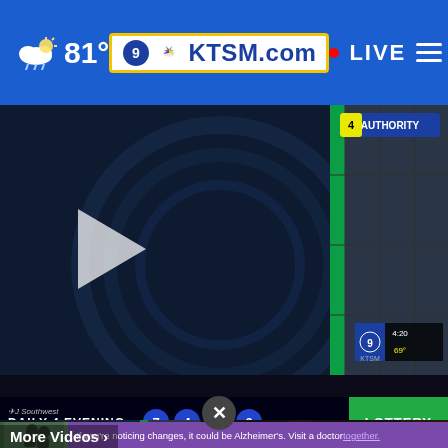KTSM.com — 81° — LIVE
[Figure (screenshot): KTSM news broadcast screenshot showing female anchor at weather desk with lottery numbers (7 4 9 0) at the bottom bar]
[Figure (screenshot): Video thumbnail: Roxy's Tuesday Forecast: Rain chance... — 3 hours ago]
[Figure (screenshot): Video thumbnail: City Council to agree on more vets for animals — 5 hours ago]
[Figure (screenshot): Video thumbnail: The W Game (partially visible)]
If you're noticing changes, it could be Alzheimer's. Visit a doctor together.